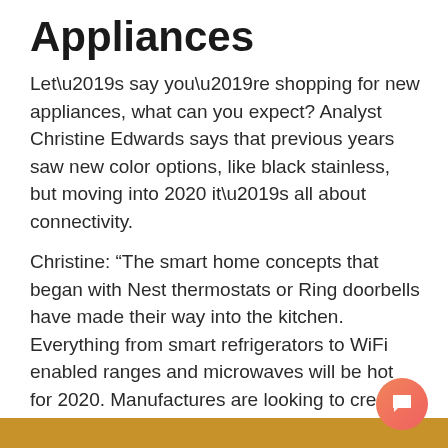Appliances
Let’s say you’re shopping for new appliances, what can you expect? Analyst Christine Edwards says that previous years saw new color options, like black stainless, but moving into 2020 it’s all about connectivity.
Christine: “The smart home concepts that began with Nest thermostats or Ring doorbells have made their way into the kitchen. Everything from smart refrigerators to WiFi enabled ranges and microwaves will be hot for 2020. Manufactures are looking to create a communication and organizational hub in the heart of the home – the kitchen.”